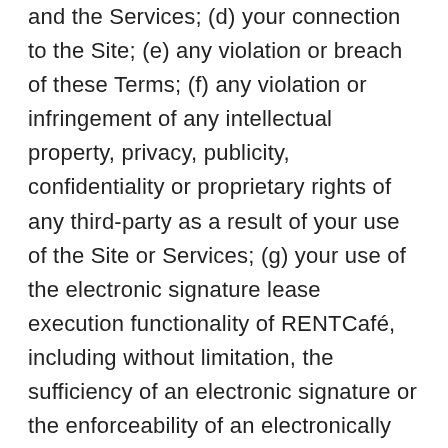and the Services; (d) your connection to the Site; (e) any violation or breach of these Terms; (f) any violation or infringement of any intellectual property, privacy, publicity, confidentiality or proprietary rights of any third-party as a result of your use of the Site or Services; (g) your use of the electronic signature lease execution functionality of RENTCafé, including without limitation, the sufficiency of an electronic signature or the enforceability of an electronically signed lease; or (h) your use of RENTCafé Resident Services voice activated commands via third parties including but not limited to Amazon Alexa and Echo services (collectively, the "Claims"). You are solely responsible for defending any such Claims, and for payment of losses, costs, damages or expenses resulting from the foregoing to both a third party and to the Yardi Indemnified Parties. Yardi shall